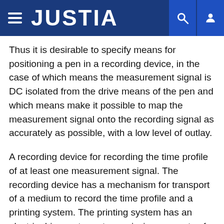JUSTIA
Thus it is desirable to specify means for positioning a pen in a recording device, in the case of which means the measurement signal is DC isolated from the drive means of the pen and which means make it possible to map the measurement signal onto the recording signal as accurately as possible, with a low level of outlay.
A recording device for recording the time profile of at least one measurement signal. The recording device has a mechanism for transport of a medium to record the time profile and a printing system. The printing system has an electric drive motor; a transmission apparatus for conversion of the rotational drive movement of the drive motor into a translational movement transversely with respect to the transport direction of the recording medium; a pen holder which is arranged such that it follows the translational movement of the transmission